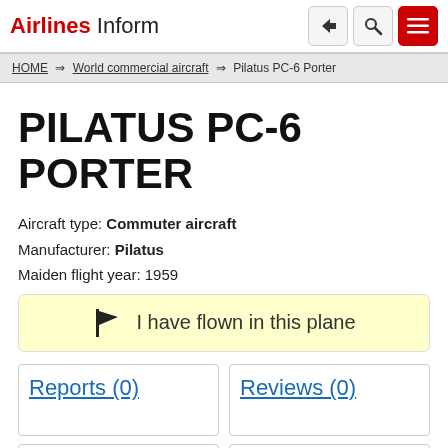Airlines Inform
HOME ⇒ World commercial aircraft ⇒ Pilatus PC-6 Porter
PILATUS PC-6 PORTER
Aircraft type: Commuter aircraft
Manufacturer: Pilatus
Maiden flight year: 1959
I have flown in this plane
Reports (0)
Reviews (0)